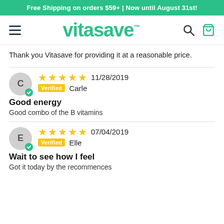Free Shipping on orders $59+ | Now until August 31st!
[Figure (logo): Vitasave logo with hamburger menu, search, and cart icons]
Thank you Vitasave for providing it at a reasonable price.
★★★★★ 11/28/2019 Verified Carle
Good energy
Good combo of the B vitamins
★★★★★ 07/04/2019 Verified Elle
Wait to see how I feel
Got it today by the recommences